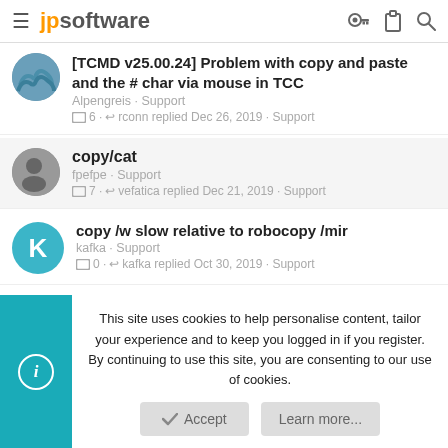jpsoftware
[TCMD v25.00.24] Problem with copy and paste and the # char via mouse in TCC
Alpengreis · Support
6 · rconn replied Dec 26, 2019 · Support
copy/cat
fpefpe · Support
7 · vefatica replied Dec 21, 2019 · Support
copy /w slow relative to robocopy /mir
kafka · Support
0 · kafka replied Oct 30, 2019 · Support
This site uses cookies to help personalise content, tailor your experience and to keep you logged in if you register.
By continuing to use this site, you are consenting to our use of cookies.